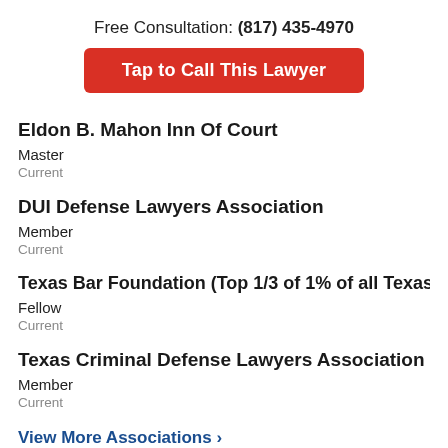Free Consultation: (817) 435-4970
Tap to Call This Lawyer
Eldon B. Mahon Inn Of Court
Master
Current
DUI Defense Lawyers Association
Member
Current
Texas Bar Foundation (Top 1/3 of 1% of all Texas Atto
Fellow
Current
Texas Criminal Defense Lawyers Association
Member
Current
View More Associations ›